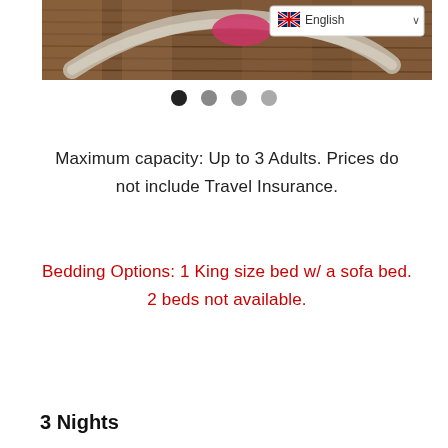[Figure (photo): Photo of a hammock on a wooden deck with a pink cushion, viewed from above. A language selector badge showing 'English' with a UK flag is overlaid in the top right corner of the image.]
Maximum capacity: Up to 3 Adults. Prices do not include Travel Insurance.
Bedding Options: 1 King size bed w/ a sofa bed. 2 beds not available.
3 Nights